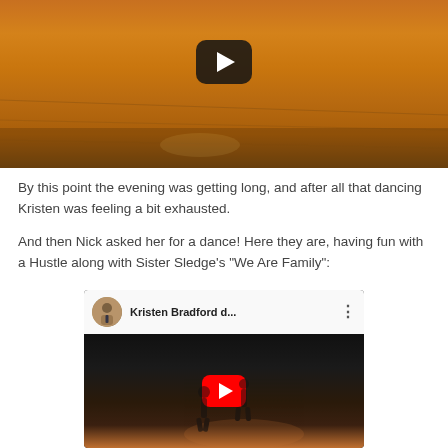[Figure (screenshot): Video thumbnail showing a dance floor with warm orange/brown parquet floor. A YouTube-style play button (dark rounded rectangle with white arrow) is visible in the upper center. People are visible in the background at what appears to be a formal event.]
By this point the evening was getting long, and after all that dancing Kristen was feeling a bit exhausted.
And then Nick asked her for a dance! Here they are, having fun with a Hustle along with Sister Sledge's "We Are Family":
[Figure (screenshot): Embedded YouTube video player thumbnail showing 'Kristen Bradford d...' title with channel avatar (man in tie), three-dot menu icon, and red YouTube play button over a dark dance floor scene with silhouetted dancer figures.]